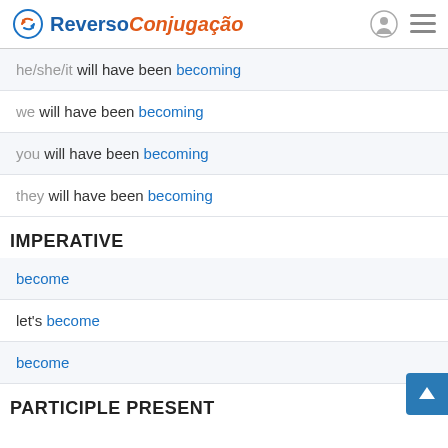Reverso Conjugação
he/she/it will have been becoming
we will have been becoming
you will have been becoming
they will have been becoming
IMPERATIVE
become
let's become
become
PARTICIPLE PRESENT